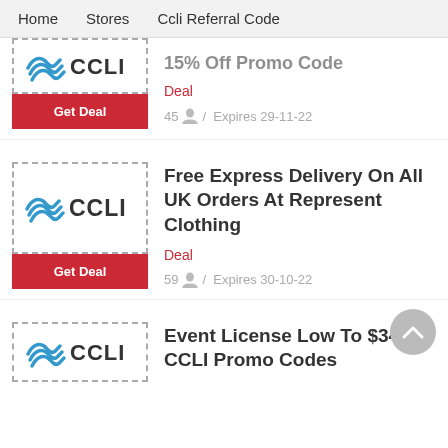Home   Stores   Ccli Referral Code
[Figure (logo): CCLI logo with blue wave icon and CCLI text]
Get Deal
15% Off Promo Code
Deal
45  /  Expires 29-11-22
[Figure (logo): CCLI logo with blue wave icon and CCLI text]
Get Deal
Free Express Delivery On All UK Orders At Represent Clothing
Deal
59  /  Expires 30-10-22
[Figure (logo): CCLI logo with blue wave icon and CCLI text (partial)]
Event License Low To $34 At CCLI Promo Codes